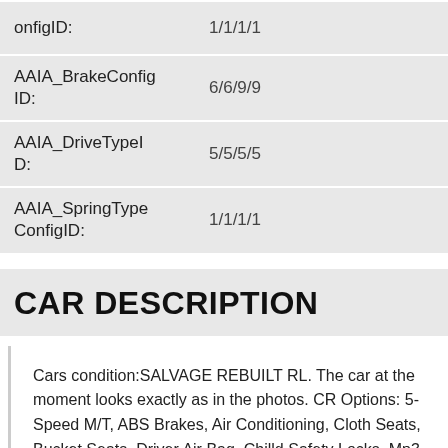| Field | Value |
| --- | --- |
| onfigID: | 1/1/1/1 |
| AAIA_BrakeConfigID: | 6/6/9/9 |
| AAIA_DriveTypeID: | 5/5/5/5 |
| AAIA_SpringTypeConfigID: | 1/1/1/1 |
CAR DESCRIPTION
Cars condition:SALVAGE REBUILT RL. The car at the moment looks exactly as in the photos. CR Options: 5-Speed M/T, ABS Brakes, Air Conditioning, Cloth Seats, Bucket Seats, Driver Air Bag, Chilld Safety Locks ,Mp3 compatible Stereo, Steel Wheels Power Locks, Power Mirrors.Trip Computer, Traction control!